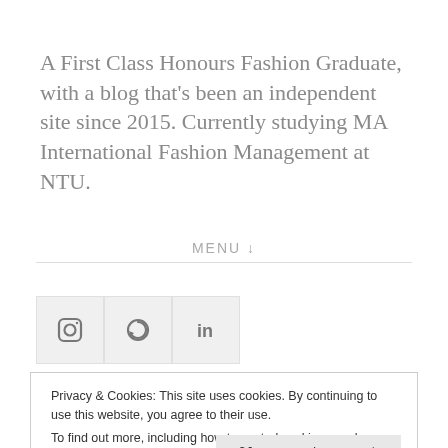A First Class Honours Fashion Graduate, with a blog that's been an independent site since 2015. Currently studying MA International Fashion Management at NTU.
MENU ↓
[Figure (other): Three social media icon buttons: Instagram camera icon, a circular arrow/refresh icon, and LinkedIn 'in' icon, displayed as gray square buttons side by side.]
Privacy & Cookies: This site uses cookies. By continuing to use this website, you agree to their use.
To find out more, including how to control cookies, see here: Cookie Policy
Close and accept